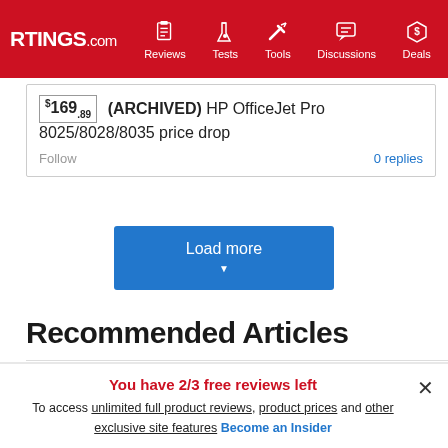RTINGS.com — Reviews, Tests, Tools, Discussions, Deals
$169.89 (ARCHIVED) HP OfficeJet Pro 8025/8028/8035 price drop
Follow   0 replies
Load more
Recommended Articles
[Figure (photo): Office environment with people working at desks]
You have 2/3 free reviews left
To access unlimited full product reviews, product prices and other exclusive site features Become an Insider